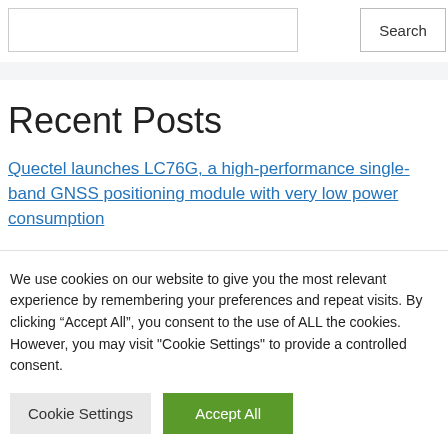Search
Recent Posts
Quectel launches LC76G, a high-performance single-band GNSS positioning module with very low power consumption
We use cookies on our website to give you the most relevant experience by remembering your preferences and repeat visits. By clicking “Accept All”, you consent to the use of ALL the cookies. However, you may visit "Cookie Settings" to provide a controlled consent.